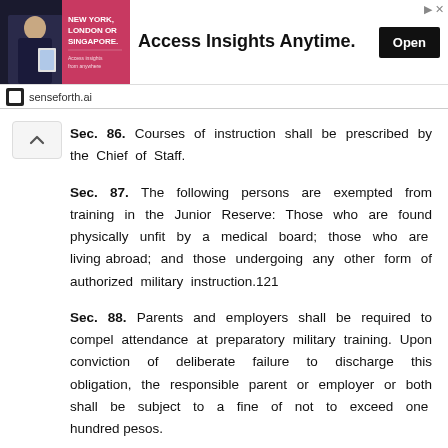[Figure (screenshot): Advertisement banner for senseforth.ai featuring 'Access Insights Anytime.' with an Open button and a photo of a man in a suit with text 'New York, London or Singapore.']
Sec. 86. Courses of instruction shall be prescribed by the Chief of Staff.
Sec. 87. The following persons are exempted from training in the Junior Reserve: Those who are found physically unfit by a medical board; those who are living abroad; and those undergoing any other form of authorized military instruction.121
Sec. 88. Parents and employers shall be required to compel attendance at preparatory military training. Upon conviction of deliberate failure to discharge this obligation, the responsible parent or employer or both shall be subject to a fine of not to exceed one hundred pesos.